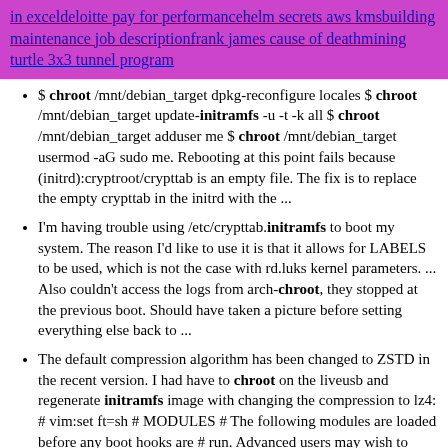in exceldeloitte pay for performancehelm secrets aws kmsbuilding maintenance job descriptionfrank james cause of deathmining turtle 3x3 tunnel program
$ chroot /mnt/debian_target dpkg-reconfigure locales $ chroot /mnt/debian_target update-initramfs -u -t -k all $ chroot /mnt/debian_target adduser me $ chroot /mnt/debian_target usermod -aG sudo me. Rebooting at this point fails because (initrd):cryptroot/crypttab is an empty file. The fix is to replace the empty crypttab in the initrd with the ...
I'm having trouble using /etc/crypttab.initramfs to boot my system. The reason I'd like to use it is that it allows for LABELS to be used, which is not the case with rd.luks kernel parameters. ... Also couldn't access the logs from arch-chroot, they stopped at the previous boot. Should have taken a picture before setting everything else back to ...
The default compression algorithm has been changed to ZSTD in the recent version. I had have to chroot on the liveusb and regenerate initramfs image with changing the compression to lz4: # vim:set ft=sh # MODULES # The following modules are loaded before any boot hooks are # run. Advanced users may wish to specify all system modules # in this.
An initramfs "image" (more accurately: archive) is a